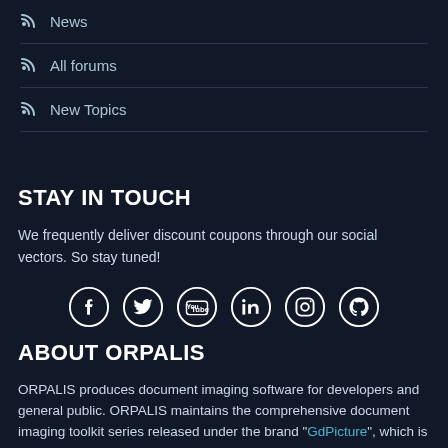News
All forums
New Topics
STAY IN TOUCH
We frequently deliver discount coupons through our social vectors. So stay tuned!
[Figure (illustration): Social media icons: Facebook, Twitter, YouTube, LinkedIn, Instagram, GitHub]
ABOUT ORPALIS
ORPALIS produces document imaging software for developers and general public. ORPALIS maintains the comprehensive document imaging toolkit series released under the brand "GdPicture", which is now a worldwide known and respected